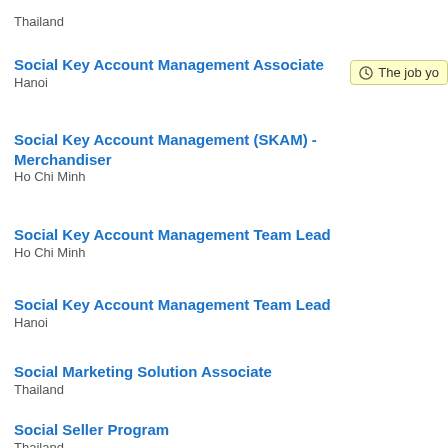Thailand
Social Key Account Management Associate
Hanoi
Social Key Account Management (SKAM) - Merchandiser
Ho Chi Minh
Social Key Account Management Team Lead
Ho Chi Minh
Social Key Account Management Team Lead
Hanoi
Social Marketing Solution Associate
Thailand
Social Seller Program
Thailand